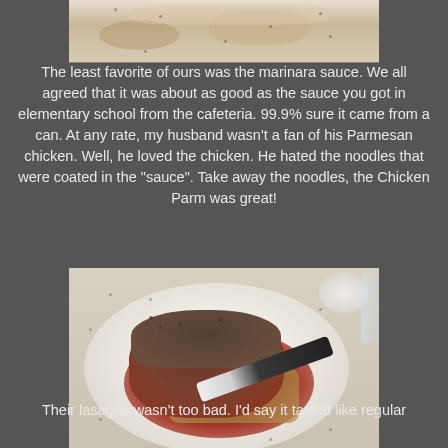[Figure (photo): Partial photo of a food dish at top of page, cropped]
The least favorite of ours was the marinara sauce. We all agreed that it was about as good as the sauce you got in elementary school from the cafeteria. 99.9% sure it came from a can. At any rate, my husband wasn't a fan of his Parmesan chicken. Well, he loved the chicken. He hated the noodles that were coated in the "sauce". Take away the noodles, the Chicken Parm was great!
[Figure (photo): Photo of Chicken Parmesan dish on a white plate with marinara sauce, noodles, and a fork]
Their lasagna wasn't too bad. I'd say it tasted like regular